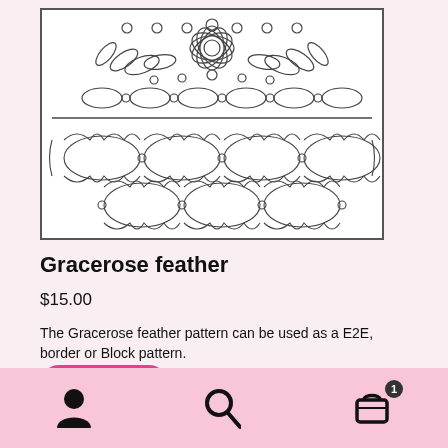[Figure (illustration): Gracerose feather quilting pattern showing intricate feather and petal designs in black and white line art. Top section shows a floral/petal border pattern, bottom section shows repeating oval/elliptical feather chain patterns.]
Gracerose feather
$15.00
The Gracerose feather pattern can be used as a E2E, border or Block pattern.
Add to cart
[Figure (other): Mobile app bottom navigation bar with user/profile icon, search icon, and shopping cart icon with badge showing 1 item.]